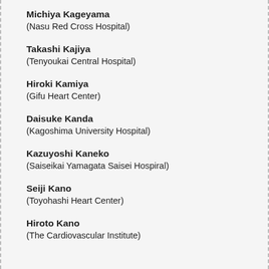Michiya Kageyama
(Nasu Red Cross Hospital)
Takashi Kajiya
(Tenyoukai Central Hospital)
Hiroki Kamiya
(Gifu Heart Center)
Daisuke Kanda
(Kagoshima University Hospital)
Kazuyoshi Kaneko
(Saiseikai Yamagata Saisei Hospiral)
Seiji Kano
(Toyohashi Heart Center)
Hiroto Kano
(The Cardiovascular Institute)